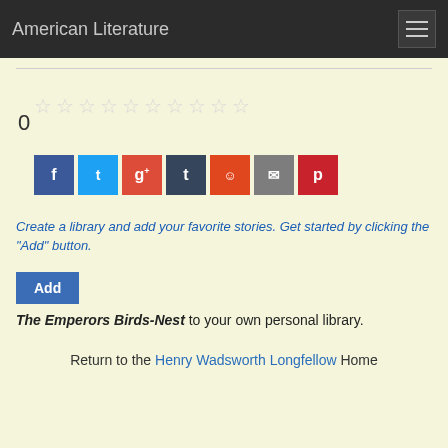American Literature
[Figure (other): Ten empty star rating icons in a row]
0
[Figure (other): Social sharing buttons: Facebook, Twitter, Google+, Tumblr, Reddit, Email, Pinterest]
Create a library and add your favorite stories. Get started by clicking the "Add" button.
Add The Emperors Birds-Nest to your own personal library.
Return to the Henry Wadsworth Longfellow Home